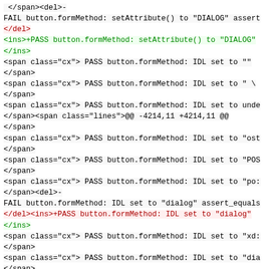Code diff showing test results for button.formMethod with setAttribute() and IDL set operations, including PASS/FAIL annotations and HTML span/del/ins markup.